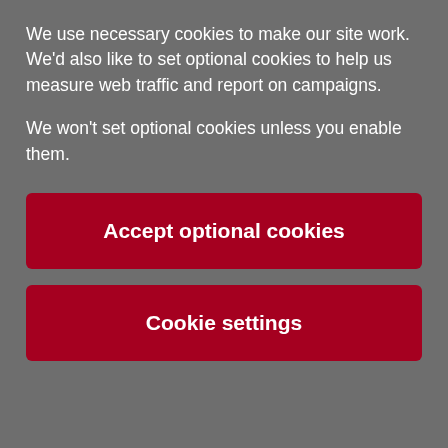We use necessary cookies to make our site work. We'd also like to set optional cookies to help us measure web traffic and report on campaigns.
We won't set optional cookies unless you enable them.
Accept optional cookies
Cookie settings
[Figure (logo): Lancaster University shield/crest logo with lion and roses]
Lancaster University
Home > Study at Lancaster > Undergraduate > Undergraduate Courses > Computer Science and Mathematics (Placement Year) BSc Ho
[Figure (photo): Two people looking at a computer screen, partially visible at the bottom of the page]